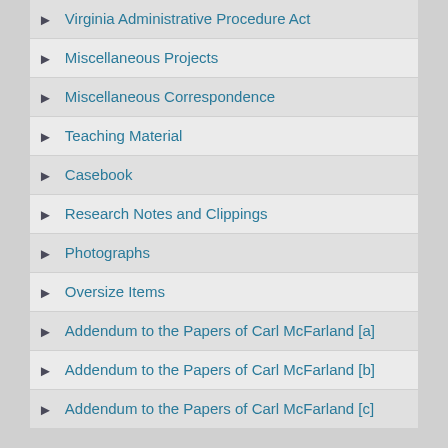Virginia Administrative Procedure Act
Miscellaneous Projects
Miscellaneous Correspondence
Teaching Material
Casebook
Research Notes and Clippings
Photographs
Oversize Items
Addendum to the Papers of Carl McFarland [a]
Addendum to the Papers of Carl McFarland [b]
Addendum to the Papers of Carl McFarland [c]